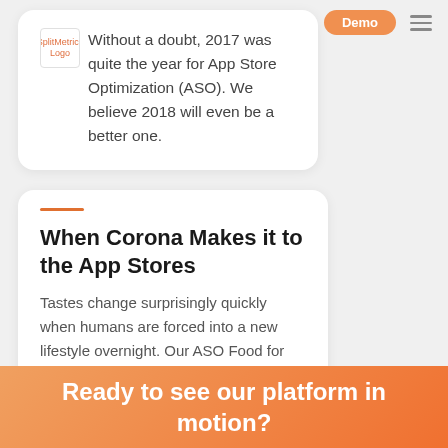[Figure (logo): SplitMetrics logo placeholder top left]
Demo
Without a doubt, 2017 was quite the year for App Store Optimization (ASO). We believe 2018 will even be a better one.
When Corona Makes it to the App Stores
Tastes change surprisingly quickly when humans are forced into a new lifestyle overnight. Our ASO Food for Thought from April 2, 2020.
Ready to see our platform in motion?